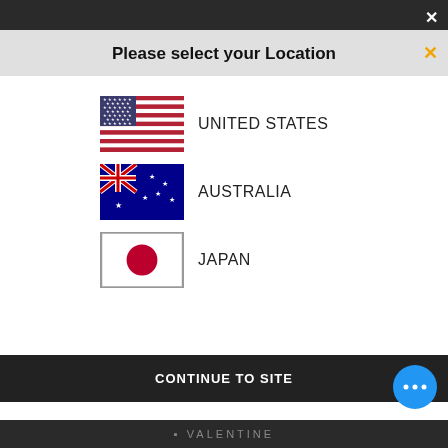Please select your Location
UNITED STATES
AUSTRALIA
JAPAN
CONTINUE TO SITE